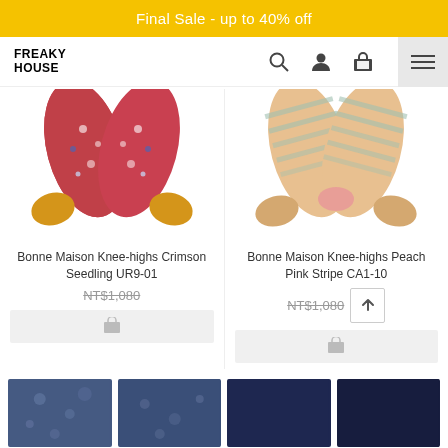Final Sale - up to 40% off
[Figure (logo): Freaky House logo text]
[Figure (photo): Bonne Maison Knee-highs Crimson Seedling UR9-01 - red floral socks crossed]
Bonne Maison Knee-highs Crimson Seedling UR9-01
NT$1,080
[Figure (photo): Bonne Maison Knee-highs Peach Pink Stripe CA1-10 - peach striped socks crossed]
Bonne Maison Knee-highs Peach Pink Stripe CA1-10
NT$1,080
[Figure (photo): Bottom row product images - dark blue fabric/textile products]
[Figure (photo): Bottom row product images - dark navy fabric/textile products]